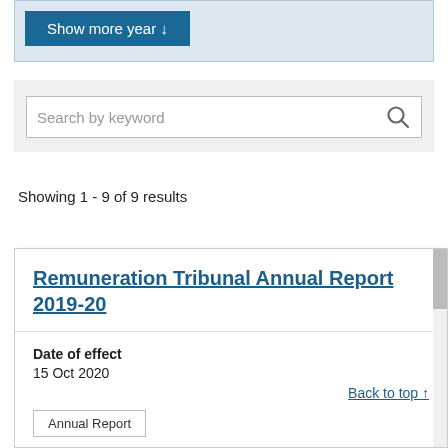[Figure (screenshot): Show more year button in a light blue card area]
[Figure (screenshot): Search by keyword input box with search icon]
Showing 1 - 9 of 9 results
Remuneration Tribunal Annual Report 2019-20
Date of effect
15 Oct 2020
Back to top ↑
Annual Report